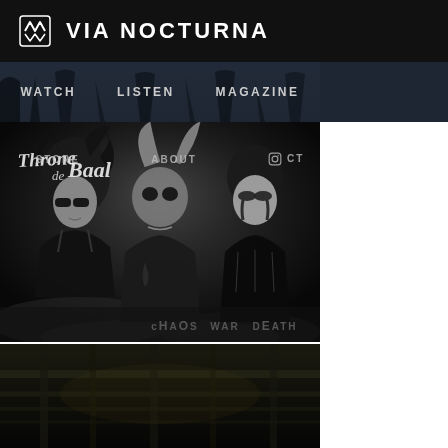VIA NOCTURNA
[Figure (screenshot): Navigation bar with dark forest background and menu items: WATCH, LISTEN, MAGAZINE]
[Figure (photo): Black and white album cover 'Throne of Baal' featuring three women with dark/gothic makeup and horns. Text at bottom reads: cHAOS WAR DEATH. Second navigation row visible: STORE, ABOUT, CONTACT with Instagram icon]
[Figure (photo): Bottom dark image, partially visible, appears to be a dark architectural/industrial scene]